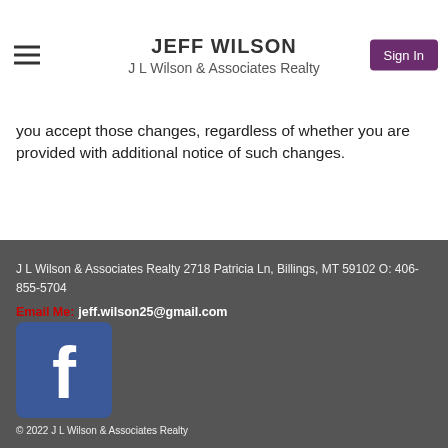JEFF WILSON
J L Wilson & Associates Realty
you accept those changes, regardless of whether you are provided with additional notice of such changes.
J L Wilson & Associates Realty 2718 Patricia Ln, Billings, MT 59102 O: 406-855-5704
Email Me: jeff.wilson25@gmail.com
[Figure (logo): Facebook logo button — blue rounded square with white lowercase 'f']
© 2022 J L Wilson & Associates Realty